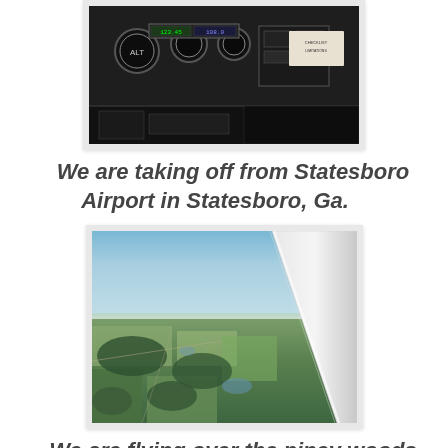[Figure (photo): Photo of airplane cockpit/dashboard instruments, dark interior, taken from inside the cockpit]
We are taking off from Statesboro Airport in Statesboro, Ga.
[Figure (photo): Aerial photo taken from small airplane showing piney woods and agricultural fields of south Georgia, with airplane wing strut visible in upper right, blue sky horizon]
We are flying over the piney woods and fields of south Georgia